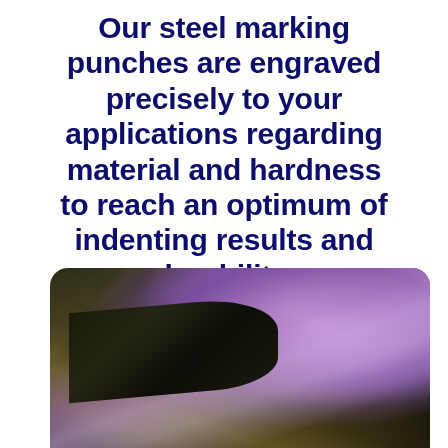Our steel marking punches are engraved precisely to your applications regarding material and hardness to reach an optimum of indenting results and durability.
[Figure (photo): Close-up photo of a steel marking punch tip against a purple-lit background, showing the dark metallic tool with a gold/brass element visible at the bottom]